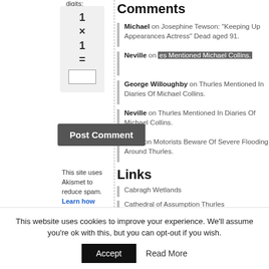digits:
[Figure (other): Math calculation widget: 1 × 1 = [input box]]
[Figure (other): Post Comment button overlay]
This site uses Akismet to reduce spam. Learn how your comment data
Comments
Michael on Josephine Tewson: “Keeping Up Appearances Actress” Dead aged 91.
Neville on [obscured] Michael Collins.
George Willoughby on Thurles Mentioned In Diaries Of Michael Collins.
Neville on Thurles Mentioned In Diaries Of Michael Collins.
Chris on Motorists Beware Of Severe Flooding Around Thurles.
Links
Cabragh Wetlands
Cathedral of Assumption Thurles
Catholic Parish Register
This website uses cookies to improve your experience. We'll assume you're ok with this, but you can opt-out if you wish.
Accept
Read More